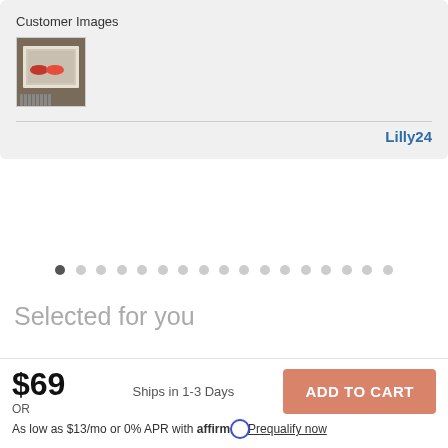Customer Images
[Figure (photo): Customer photo thumbnail of a framed automotive print hanging on a wall]
Lilly24
[Figure (other): Pagination dots row with first dot filled/active and remaining dots empty]
Selected for you
$69
OR
Ships in 1-3 Days
ADD TO CART
As low as $13/mo or 0% APR with affirm Prequalify now